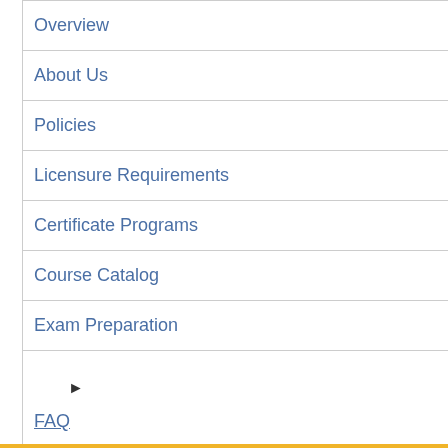Overview
About Us
Policies
Licensure Requirements
Certificate Programs
Course Catalog
Exam Preparation
▶ FAQ
Mailing List